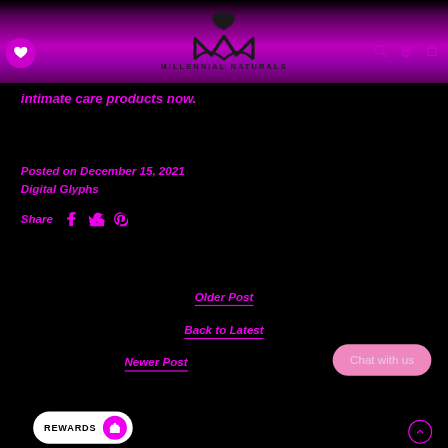MILLENNIAL NATURALS
intimate care products now.
Posted on December 15, 2021
Digital Glyphs
Share
Older Post
Back to Latest
Newer Post
Chat with us
REWARDS